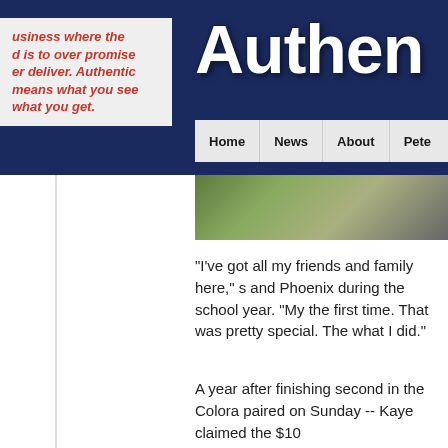[Figure (screenshot): Website header with dark navy background showing 'Authen' (partial brand name) in large white bold text with shadow effect, a white box with red italic tagline text on the left, a navigation bar with Home, News, About, Pete links, and a partial photo strip below.]
usiness where the d is to over promise er deliver. Authentic means what you see what you get.
"I've got all my friends and family here," s and Phoenix during the school year. "My the first time. That was pretty special. The what I did."
A year after finishing second in the Colora paired on Sunday -- Kaye claimed the $10